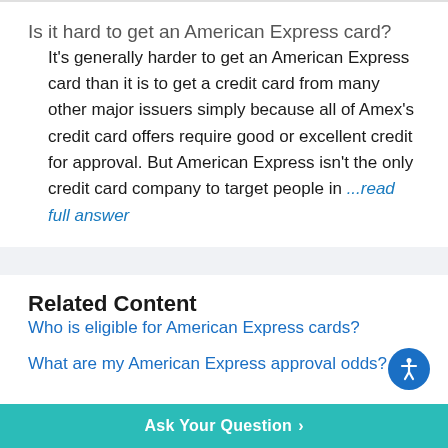Is it hard to get an American Express card?
It's generally harder to get an American Express card than it is to get a credit card from many other major issuers simply because all of Amex's credit card offers require good or excellent credit for approval. But American Express isn't the only credit card company to target people in ...read full answer
Related Content
Who is eligible for American Express cards?
What are my American Express approval odds?
Ask Your Question >